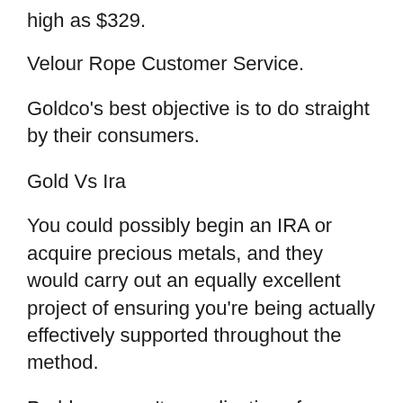high as $329.
Velour Rope Customer Service.
Goldco's best objective is to do straight by their consumers.
Gold Vs Ira
You could possibly begin an IRA or acquire precious metals, and they would carry out an equally excellent project of ensuring you're being actually effectively supported throughout the method.
Problems aren't complications for very long. They additionally don't make use of aggressive purchases approaches. Their low-